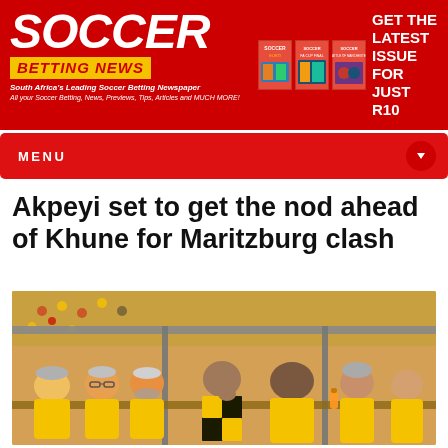SOCCER BETTING NEWS — South Africa's Leading Soccer Betting Newspaper. All your Soccer Betting, News, Previews, Tips, Articles and MUCH MORE! GET THE LATEST ISSUE FOR JUST R10
MENU
Akpeyi set to get the nod ahead of Khune for Maritzburg clash
[Figure (photo): Football players and coaching staff seated on a bench in a stadium dugout, wearing yellow Kaizer Chiefs kit. A player in a black and yellow checked jersey sits in the center. Crowd visible in background.]